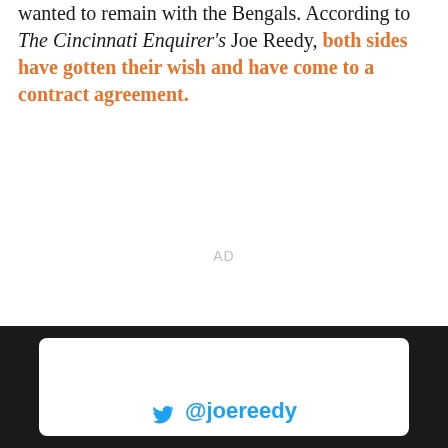wanted to remain with the Bengals. According to The Cincinnati Enquirer's Joe Reedy, both sides have gotten their wish and have come to a contract agreement.
AD
[Figure (screenshot): Tweet embed box with dark background containing a white card showing @joereedy Twitter handle in blue]